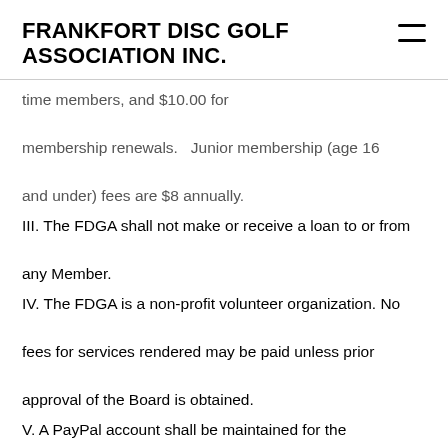FRANKFORT DISC GOLF ASSOCIATION INC.
time members, and $10.00 for membership renewals.   Junior membership (age 16 and under) fees are $8 annually.
III. The FDGA shall not make or receive a loan to or from any Member.
IV. The FDGA is a non-profit volunteer organization. No fees for services rendered may be paid unless prior approval of the Board is obtained.
V. A PayPal account shall be maintained for the purchasing of discs, bag tags, etc.
VI. In the event that the FDGA is dissolved, its assets (both physical and monetary) shall be dispersed as follows:
A. Assets shall be consolidated from all members.